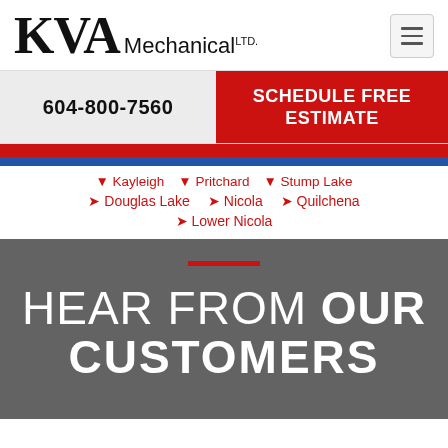[Figure (logo): KVA Mechanical Ltd. logo with large serif KVA text and sans-serif Mechanical ltd. text]
604-800-7560
SCHEDULE FREE ESTIMATE
▼ Kayleigh  ▼ Pritchard  ▼ Stump Lake
◉ Douglas Lake  ◉ Nicola  ◉ Quilchena
◉ Lower Nicola
HEAR FROM OUR CUSTOMERS